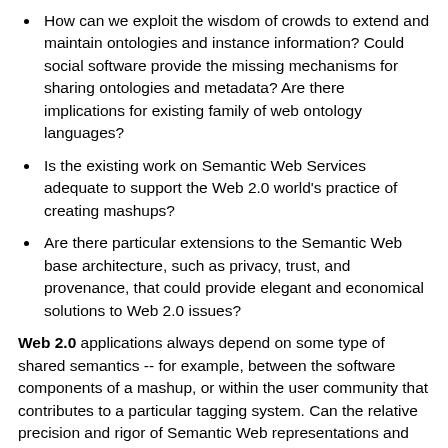How can we exploit the wisdom of crowds to extend and maintain ontologies and instance information? Could social software provide the missing mechanisms for sharing ontologies and metadata? Are there implications for existing family of web ontology languages?
Is the existing work on Semantic Web Services adequate to support the Web 2.0 world's practice of creating mashups?
Are there particular extensions to the Semantic Web base architecture, such as privacy, trust, and provenance, that could provide elegant and economical solutions to Web 2.0 issues?
Web 2.0 applications always depend on some type of shared semantics -- for example, between the software components of a mashup, or within the user community that contributes to a particular tagging system. Can the relative precision and rigor of Semantic Web representations and inference add significant value to Web 2.0 applications?
Are the various Semantic Web "bridge"